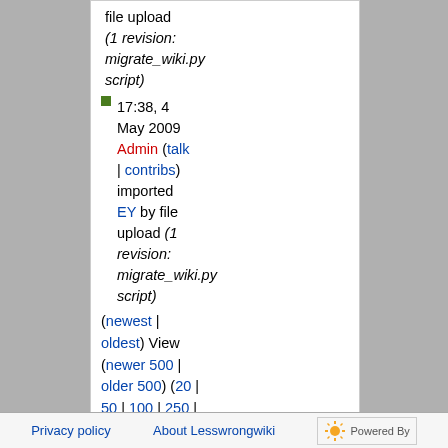file upload (1 revision: migrate_wiki.py script)
17:38, 4 May 2009 Admin (talk | contribs) imported EY by file upload (1 revision: migrate_wiki.py script)
(newest | oldest) View (newer 500 | older 500) (20 | 50 | 100 | 250 | 500)
Privacy policy   About Lesswrongwiki   Powered by